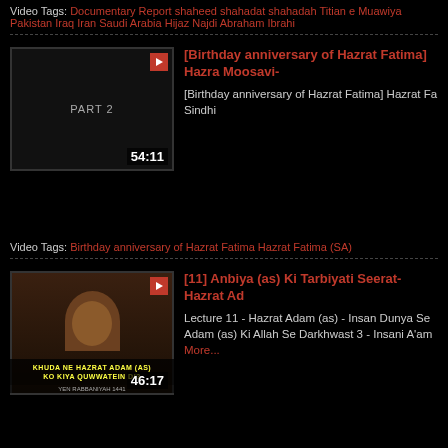Video Tags: Documentary Report shaheed shahadat shahadah Titian e Muawiya Pakistan Iraq Iran Saudi Arabia Hijaz Najdi Abraham Ibrahi...
[Figure (screenshot): Video thumbnail showing 'PART 2' text on black background, duration 54:11]
[Birthday anniversary of Hazrat Fatima] Hazrat Fatima Moosavi-
[Birthday anniversary of Hazrat Fatima] Hazrat Fa... Sindhi
Video Tags: Birthday anniversary of Hazrat Fatima Hazrat Fatima (SA)...
[Figure (screenshot): Video thumbnail showing a speaker with text 'KHUDA NE HAZRAT ADAM (AS) KO KIYA QUWWATEIN DI?', duration 46:17]
[11] Anbiya (as) Ki Tarbiyati Seerat- Hazrat Ad...
Lecture 11 - Hazrat Adam (as) - Insan Dunya Se Adam (as) Ki Allah Se Darkhwast 3 - Insani A'am... More...
Video Tags: Hazrat Khadija Bibi Khadija Hazrat Adam aur Allah Insani...